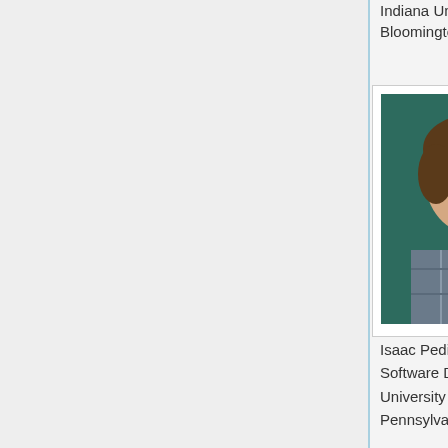Indiana University-Bloomington
[Figure (photo): Headshot of Isaac Pedisich, a young man with brown hair, smiling, wearing a plaid shirt, against a dark teal background.]
Isaac Pedisich
Software Developer,
University of Pennsylvania
[Figure (photo): Headshot of a young woman with long brown hair, smiling, wearing a teal/turquoise shirt with a small cross pendant, against a light background.]